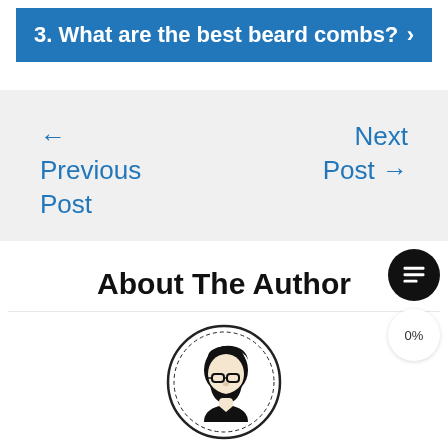3. What are the best beard combs?
← Previous Post
Next Post →
About The Author
[Figure (illustration): Circular logo illustration of a man with glasses and beard in black and white]